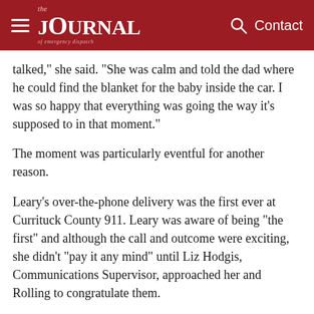the JOURNAL of emergency dispatch — Contact
talked,” she said. “She was calm and told the dad where he could find the blanket for the baby inside the car. I was so happy that everything was going the way it’s supposed to in that moment.”
The moment was particularly eventful for another reason.
Leary’s over-the-phone delivery was the first ever at Currituck County 911. Leary was aware of being “the first” and although the call and outcome were exciting, she didn’t “pay it any mind” until Liz Hodgis, Communications Supervisor, approached her and Rolling to congratulate them.
It was a big deal, Hodgis told them. They had received a call that brought a baby into the